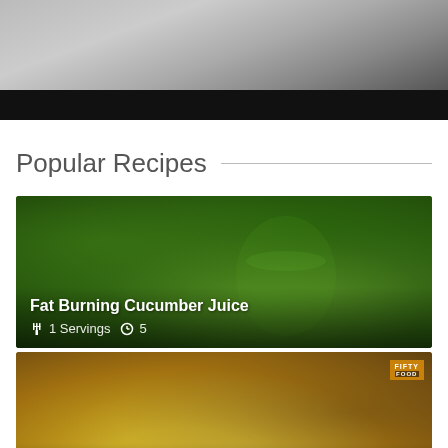[Figure (photo): Top portion of a food/recipe page showing a partial photo with a black bar at the bottom]
Popular Recipes
[Figure (photo): Fat Burning Cucumber Juice recipe card showing green juice in a glass with herbs, 1 Servings, clock icon 5]
[Figure (photo): Mutton Rosh Quetta Recipe card showing a bowl of soup with spices, 10 Servings, 4 hours, Fifty Food logo]